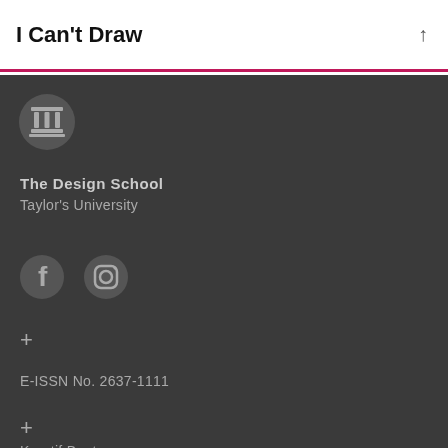I Can't Draw
[Figure (logo): Circular logo with a column/pillar icon in grey tones]
The Design School
Taylor's University
[Figure (illustration): Social media icons: Facebook and Instagram circular grey icons]
+
E-ISSN No. 2637-1111
+
Kreatif Beats